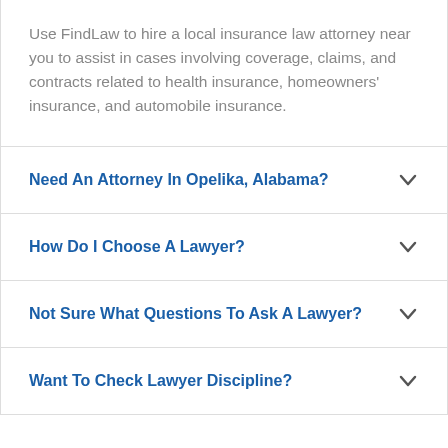Use FindLaw to hire a local insurance law attorney near you to assist in cases involving coverage, claims, and contracts related to health insurance, homeowners' insurance, and automobile insurance.
Need An Attorney In Opelika, Alabama?
How Do I Choose A Lawyer?
Not Sure What Questions To Ask A Lawyer?
Want To Check Lawyer Discipline?